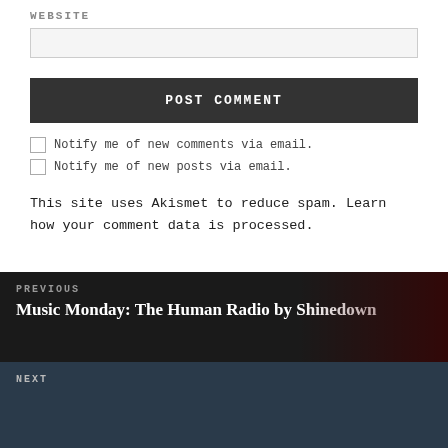WEBSITE
POST COMMENT
Notify me of new comments via email.
Notify me of new posts via email.
This site uses Akismet to reduce spam. Learn how your comment data is processed.
PREVIOUS
Music Monday: The Human Radio by Shinedown
NEXT